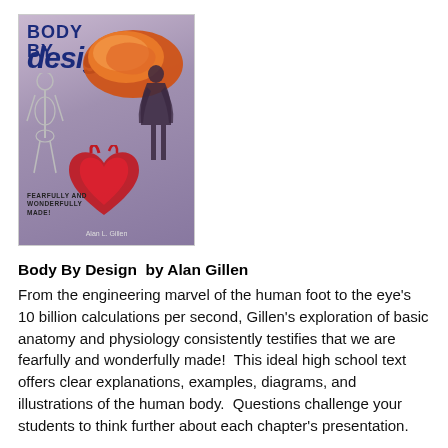[Figure (illustration): Book cover of 'Body By Design' by Alan L. Gillen. Shows title text 'BODY BY design' in bold blue/navy on upper left, with illustrations of a brain (orange/red), a skeleton figure, a dark human silhouette, and a heart. Bottom text reads 'FEARFULLY AND WONDERFULLY MADE!' with author name 'Alan L. Gillen'.]
Body By Design  by Alan Gillen
From the engineering marvel of the human foot to the eye's 10 billion calculations per second, Gillen's exploration of basic anatomy and physiology consistently testifies that we are fearfully and wonderfully made!  This ideal high school text offers clear explanations, examples, diagrams, and illustrations of the human body.  Questions challenge your students to think further about each chapter's presentation.